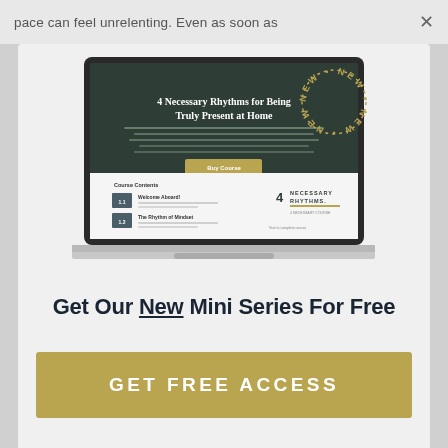pace can feel unrelenting. Even as soon as  ×
[Figure (screenshot): Laptop screenshot showing a course page titled '4 Necessary Rhythms for Being Truly Present at Home' with course contents panel below, and a 'NEW' circular badge in top right corner.]
Get Our New Mini Series For Free
GET FREE ACCESS